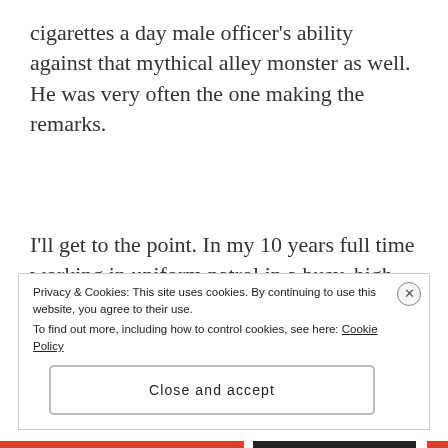cigarettes a day male officer's ability against that mythical alley monster as well. He was very often the one making the remarks.
I'll get to the point. In my 10 years full time working in uniform patrol in a busy, high crime area of Glasgow I only once came up against the alley monster and looking back with hindsight, the
Privacy & Cookies: This site uses cookies. By continuing to use this website, you agree to their use.
To find out more, including how to control cookies, see here: Cookie Policy
Close and accept